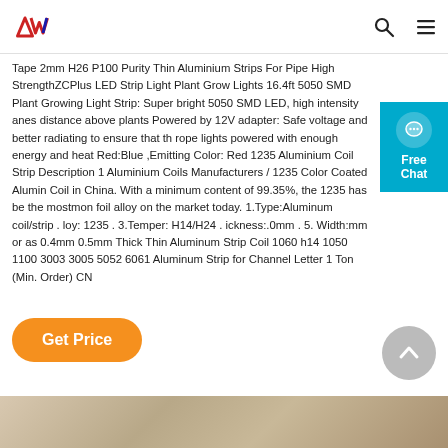AW (logo)
Tape 2mm H26 P100 Purity Thin Aluminium Strips For Pipe High StrengthZCPlus LED Strip Light Plant Grow Lights 16.4ft 5050 SMD Plant Growing Light Strip: Super bright 5050 SMD LED, high intensity anes distance above plants Powered by 12V adapter: Safe voltage and better radiating to ensure that the rope lights powered with enough energy and heat Red:Blue ,Emitting Color: Red 1235 Aluminium Coil Strip Description 1 Aluminium Coils Manufacturers / 1235 Color Coated Aluminium Coil in China. With a minimum content of 99.35%, the 1235 has be the mostmon foil alloy on the market today. 1.Type:Aluminum coil/strip . loy: 1235 . 3.Temper: H14/H24 . ickness:.0mm . 5. Width:mm or as 0.4mm 0.5mm Thick Thin Aluminum Strip Coil 1060 h14 1050 1100 3003 3005 5052 6061 Aluminum Strip for Channel Letter 1 Ton (Min. Order) CN